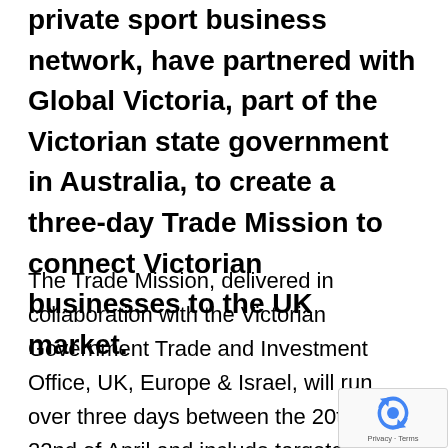private sport business network, have partnered with Global Victoria, part of the Victorian state government in Australia, to create a three-day Trade Mission to connect Victorian businesses to the UK market.
The Trade Mission, delivered in collaboration with the Victorian Government Trade and Investment Office, UK, Europe & Israel, will run over three days between the 20th and 22nd of April and include targeted business matching and connections to some of the world's leading decision makers within the sport